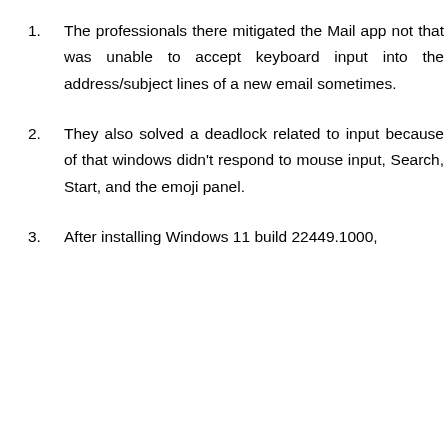The professionals there mitigated the Mail app not that was unable to accept keyboard input into the address/subject lines of a new email sometimes.
They also solved a deadlock related to input because of that windows didn't respond to mouse input, Search, Start, and the emoji panel.
After installing Windows 11 build 22449.1000,